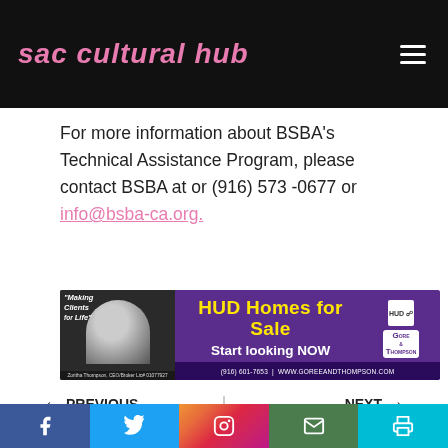sac cultural hub
For more information about BSBA’s Technical Assistance Program, please contact BSBA at or (916) 573 -0677 or info@bsba-ca.org.
[Figure (photo): Advertisement banner for Gore & Thompson Real Estate, featuring Zoritha Thompson CEO/Broker, with text: “Making Clients for Life”, HUD Homes for Sale, Start looking NOW, (916) 601-7653 | WWW.GOREEANDTHOMPSON.COM]
← PREVIOUS
Here’s How Joe Biden Would Start Fixing Our
NEXT →
When is Day of the Dead, what does it